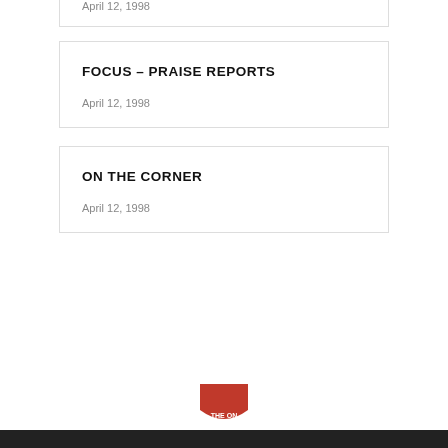April 12, 1998
FOCUS – PRAISE REPORTS
April 12, 1998
ON THE CORNER
April 12, 1998
[Figure (logo): Salvation Army shield logo, red with white text 'THE ON' visible at bottom, partially cropped]